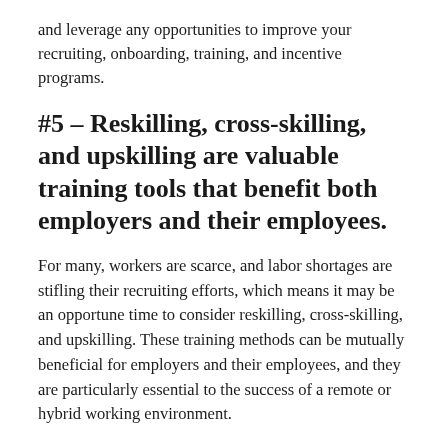and leverage any opportunities to improve your recruiting, onboarding, training, and incentive programs.
#5 – Reskilling, cross-skilling, and upskilling are valuable training tools that benefit both employers and their employees.
For many, workers are scarce, and labor shortages are stifling their recruiting efforts, which means it may be an opportune time to consider reskilling, cross-skilling, and upskilling. These training methods can be mutually beneficial for employers and their employees, and they are particularly essential to the success of a remote or hybrid working environment.